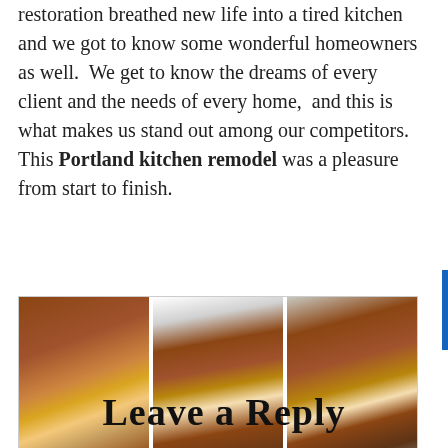restoration breathed new life into a tired kitchen and we got to know some wonderful homeowners as well.  We get to know the dreams of every client and the needs of every home,  and this is what makes us stand out among our competitors.  This Portland kitchen remodel was a pleasure from start to finish.
[Figure (photo): Three side-by-side photos of a Portland kitchen remodel showing warm wood cabinetry, granite island countertops, hardwood floors, pendant lighting, and stainless appliances.]
Leave a Reply